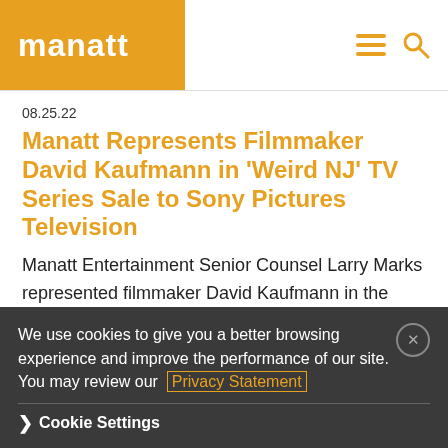manatt
08.25.22
Manatt Represents Filmmaker David Kaufmann in 'Weird NJ' TV Series Sale to Sony Pictures Television
Manatt Entertainment Senior Counsel Larry Marks represented filmmaker David Kaufmann in the sale of screen rights for a new live-action horror-comedy series known as Weird NJ to Sony Pictures Television.
We use cookies to give you a better browsing experience and improve the performance of our site. You may review our Privacy Statement
Cookie Settings